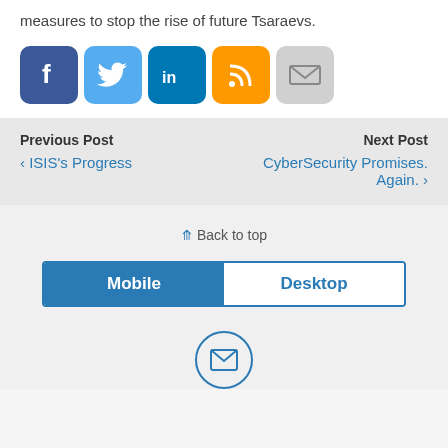measures to stop the rise of future Tsaraevs.
[Figure (other): Row of social media sharing icons: Facebook, Twitter, LinkedIn, RSS, Email/Mail]
Previous Post
‹ ISIS's Progress
Next Post
CyberSecurity Promises. Again. ›
⇧ Back to top
[Figure (other): Mobile/Desktop toggle button with Mobile selected (blue) and Desktop unselected (white)]
[Figure (other): Email/envelope icon inside a circle outline]